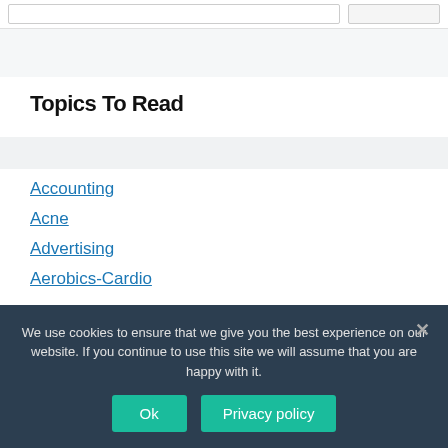Topics To Read
Accounting
Acne
Advertising
Aerobics-Cardio
We use cookies to ensure that we give you the best experience on our website. If you continue to use this site we will assume that you are happy with it.
Ok
Privacy policy